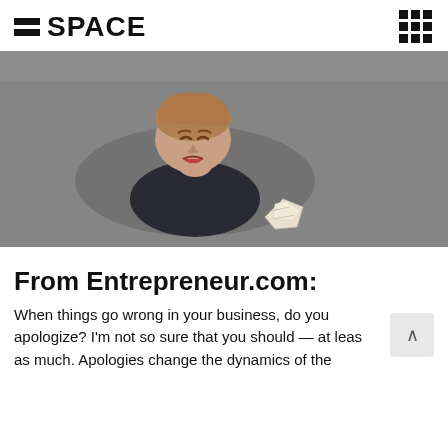=SPACE
[Figure (photo): Overhead view of a distressed woman in dark clothing kneeling on pavement, looking up at camera with a pained expression, with a crumpled piece of paper on the ground nearby.]
From Entrepreneur.com:
When things go wrong in your business, do you apologize? I'm not so sure that you should — at leas as much. Apologies change the dynamics of the